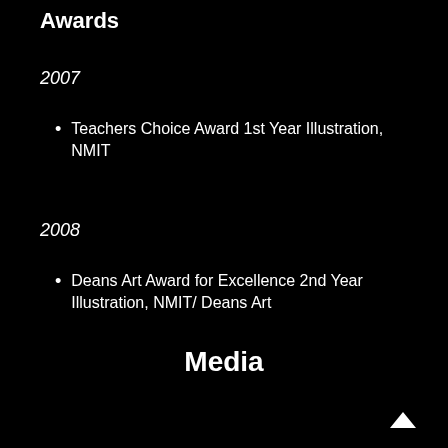Awards
2007
Teachers Choice Award 1st Year Illustration, NMIT
2008
Deans Art Award for Excellence 2nd Year Illustration, NMIT/ Deans Art
Media